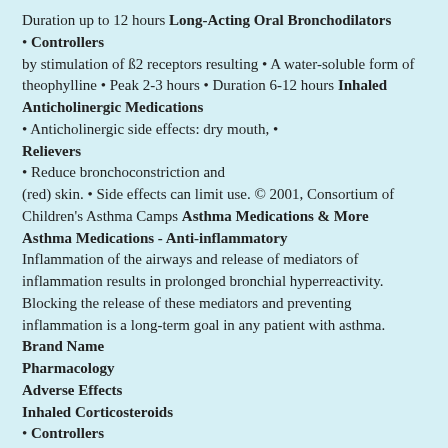Duration up to 12 hours Long-Acting Oral Bronchodilators
• Controllers
by stimulation of ß2 receptors resulting • A water-soluble form of theophylline • Peak 2-3 hours • Duration 6-12 hours Inhaled Anticholinergic Medications
• Anticholinergic side effects: dry mouth, •
Relievers
• Reduce bronchoconstriction and
(red) skin. • Side effects can limit use. © 2001, Consortium of Children's Asthma Camps Asthma Medications & More
Asthma Medications - Anti-inflammatory
Inflammation of the airways and release of mediators of inflammation results in prolonged bronchial hyperreactivity. Blocking the release of these mediators and preventing inflammation is a long-term goal in any patient with asthma. Brand Name
Pharmacology
Adverse Effects
Inhaled Corticosteroids
• Controllers
• Hoarseness and possibly thrush. Thrush • Should be given 5 minutes after short acting bronchodilator